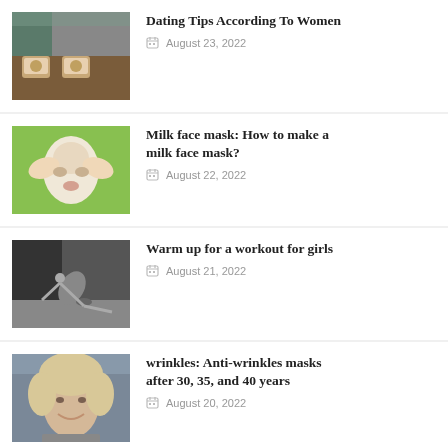[Figure (photo): Two people at a café table with coffee cups]
Dating Tips According To Women
August 23, 2022
[Figure (photo): Woman making funny glasses gesture with her hands, green background]
Milk face mask: How to make a milk face mask?
August 22, 2022
[Figure (photo): Person doing a stretching workout exercise on the floor]
Warm up for a workout for girls
August 21, 2022
[Figure (photo): Smiling woman with blonde curly hair]
wrinkles: Anti-wrinkles masks after 30, 35, and 40 years
August 20, 2022